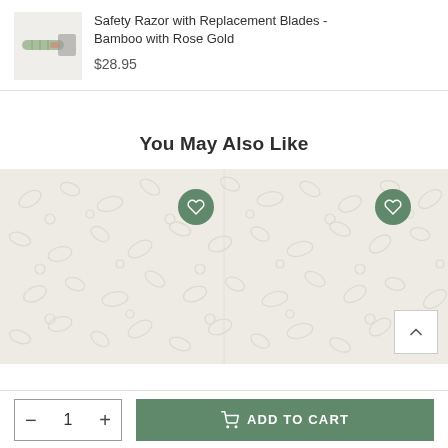Safety Razor with Replacement Blades - Bamboo with Rose Gold
$28.95
You May Also Like
[Figure (screenshot): Two product card placeholders with decorative botanical pattern background and green heart/wishlist buttons]
ADD TO CART